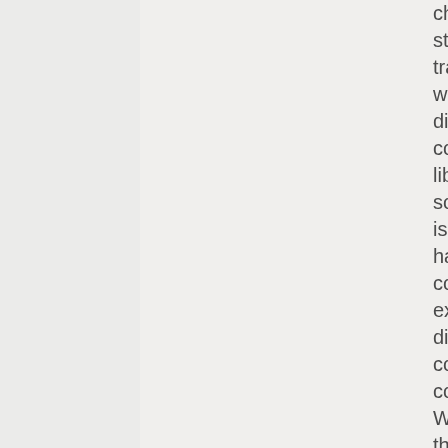change the very structure of society, transforming these warring dictatorships into cooperative, libertarian societies. And that is effectively what has to be done with corporations, except applied differently, of course. The corporation is, in Western society, the most obvious example of